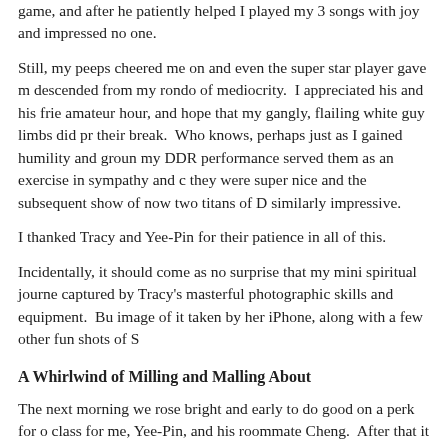game, and after he patiently helped I played my 3 songs with joy and impressed no one.
Still, my peeps cheered me on and even the super star player gave me descended from my rondo of mediocrity. I appreciated his and his frie amateur hour, and hope that my gangly, flailing white guy limbs did pr their break. Who knows, perhaps just as I gained humility and groun my DDR performance served them as an exercise in sympathy and c they were super nice and the subsequent show of now two titans of D similarly impressive.
I thanked Tracy and Yee-Pin for their patience in all of this.
Incidentally, it should come as no surprise that my mini spiritual journ captured by Tracy's masterful photographic skills and equipment. Bu image of it taken by her iPhone, along with a few other fun shots of S
A Whirlwind of Milling and Malling About
The next morning we rose bright and early to do good on a perk for o class for me, Yee-Pin, and his roommate Cheng. After that it was bre food court nearby (Yee-Pin explained on the walk how Singapore is o most everyone eats the majority of their meals out, owning to a comb and so cheap, and generally tiny kitchen space at home). Then we p